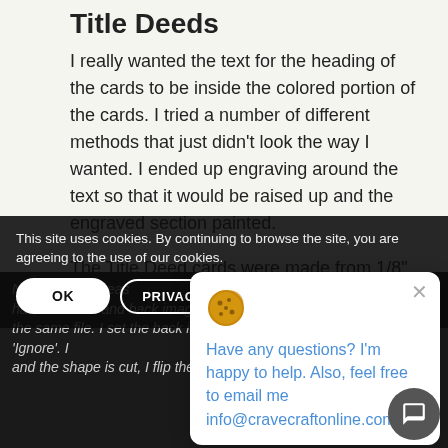Title Deeds
I really wanted the text for the heading of the cards to be inside the colored portion of the cards. I tried a number of different methods that just didn't look the way I wanted. I ended up engraving around the text so that it would be raised up and the engraved section painted.
The Title Deed cards were made from 1/8" Baltic Birch plywood... sides.
Note: I find the eas... have the front and back images overlaid in the same file. I set the back image to 'Ignore'. I... rave and the shape is cut, I flip them over and set
This site uses cookies. By continuing to browse the site, you are agreeing to the use of our cookies.
[Figure (screenshot): Chat popup with cookie emoji icon, close button, and message: Have any questions? I'm happy to help. Also, feel free to email me info@cravecraftonline.com.]
[Figure (screenshot): Chat widget circular button in dark gray with chat icon]